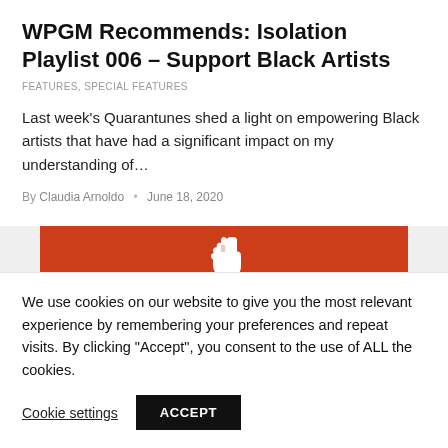WPGM Recommends: Isolation Playlist 006 – Support Black Artists
FEATURES, SPECIAL FEATURES
Last week's Quarantunes shed a light on empowering Black artists that have had a significant impact on my understanding of…
By Claudia Arnoldo  •  June 18, 2020
[Figure (illustration): Red banner with white raised fist icon on a light grey background]
We use cookies on our website to give you the most relevant experience by remembering your preferences and repeat visits. By clicking "Accept", you consent to the use of ALL the cookies.
Cookie settings    ACCEPT